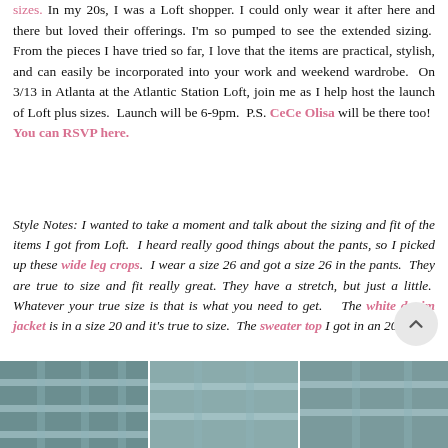sizes. In my 20s, I was a Loft shopper. I could only wear it after here and there but loved their offerings. I'm so pumped to see the extended sizing. From the pieces I have tried so far, I love that the items are practical, stylish, and can easily be incorporated into your work and weekend wardrobe. On 3/13 in Atlanta at the Atlantic Station Loft, join me as I help host the launch of Loft plus sizes. Launch will be 6-9pm. P.S. CeCe Olisa will be there too! You can RSVP here.
Style Notes: I wanted to take a moment and talk about the sizing and fit of the items I got from Loft. I heard really good things about the pants, so I picked up these wide leg crops. I wear a size 26 and got a size 26 in the pants. They are true to size and fit really great. They have a stretch, but just a little. Whatever your true size is that is what you need to get. The white denim jacket is in a size 20 and it's true to size. The sweater top I got in an 20/22.
[Figure (photo): Partial exterior photo of a building with large glass windows and panels, shown at the bottom of the page in a strip format with multiple panels]